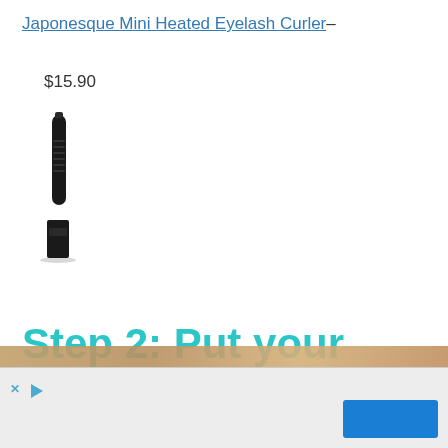Japonesque Mini Heated Eyelash Curler– $15.90
[Figure (photo): Product photo of a black Japonesque Mini Heated Eyelash Curler, a slim pen-like device with a small rectangular base, on a white background]
Step 2: Put your Curler to Use
[Figure (screenshot): Advertisement bar at the bottom of the page with a close button (X), a play button, and a blue button on the right, on a light grey background]